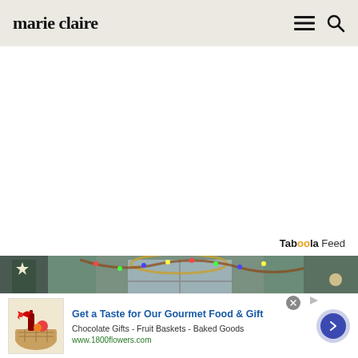marie claire
[Figure (photo): Christmas-decorated apartment interior with garland and star lights, from a TV show set (Friends)]
Taboola Feed
[Figure (photo): Advertisement banner: Get a Taste for Our Gourmet Food & Gift - Chocolate Gifts - Fruit Baskets - Baked Goods - www.1800flowers.com]